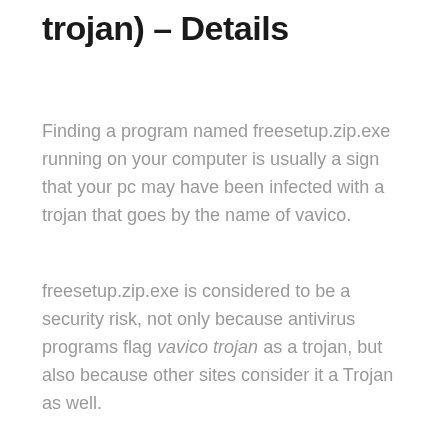trojan) – Details
Finding a program named freesetup.zip.exe running on your computer is usually a sign that your pc may have been infected with a trojan that goes by the name of vavico.
freesetup.zip.exe is considered to be a security risk, not only because antivirus programs flag vavico trojan as a trojan, but also because other sites consider it a Trojan as well.